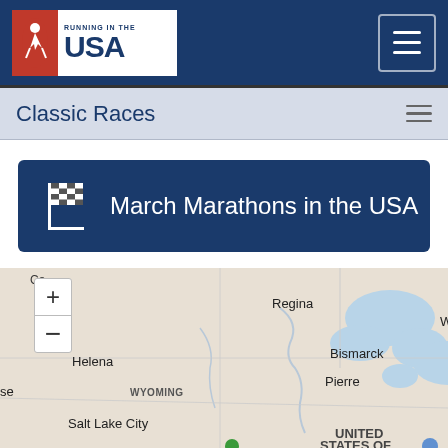Running in the USA
Classic Races
March Marathons in the USA
[Figure (map): Interactive map of the northern USA showing marathon race locations marked with green pins. Cities labeled include Regina, Winnipeg, Thunder Bay, Helena, Bismarck, Pierre, Minneapolis, Milwaukee, Salt Lake City, Iowa, Cleveland, Toronto (Toro). States labeled include Wyoming, United States Of. Zoom + and - controls visible top left.]